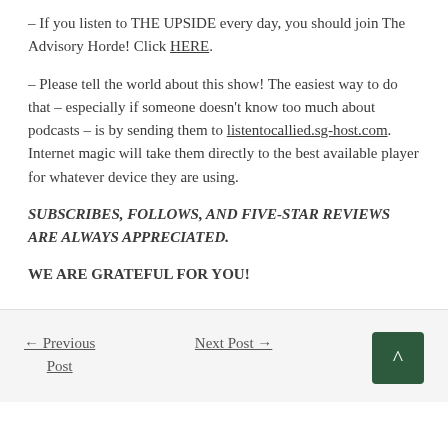– If you listen to THE UPSIDE every day, you should join The Advisory Horde! Click HERE.
– Please tell the world about this show! The easiest way to do that – especially if someone doesn't know too much about podcasts – is by sending them to listentocallied.sg-host.com. Internet magic will take them directly to the best available player for whatever device they are using.
SUBSCRIBES, FOLLOWS, AND FIVE-STAR REVIEWS ARE ALWAYS APPRECIATED.
WE ARE GRATEFUL FOR YOU!
← Previous Post    Next Post →